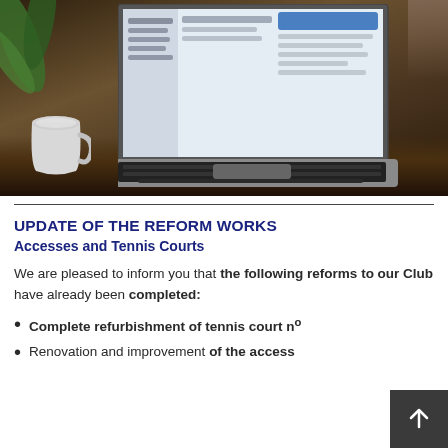[Figure (photo): Photo of a laptop computer on a wooden desk with a white coffee cup to the left. The laptop screen shows an email or web interface with a blue element visible. Green plant leaves are visible in the background on the left.]
UPDATE OF THE REFORM WORKS
Accesses and Tennis Courts
We are pleased to inform you that the following reforms to our Club have already been completed:
Complete refurbishment of tennis court nº
Renovation and improvement of the access